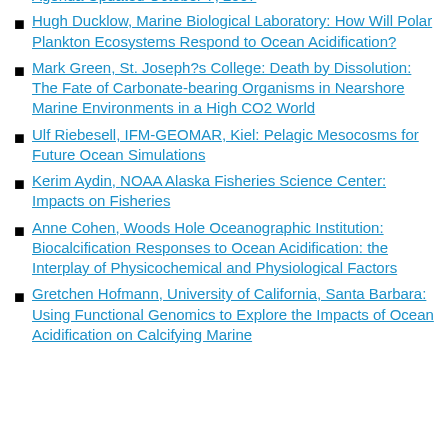Agenda Updated October 7, 2007
Hugh Ducklow, Marine Biological Laboratory: How Will Polar Plankton Ecosystems Respond to Ocean Acidification?
Mark Green, St. Joseph?s College: Death by Dissolution: The Fate of Carbonate-bearing Organisms in Nearshore Marine Environments in a High CO2 World
Ulf Riebesell, IFM-GEOMAR, Kiel: Pelagic Mesocosms for Future Ocean Simulations
Kerim Aydin, NOAA Alaska Fisheries Science Center: Impacts on Fisheries
Anne Cohen, Woods Hole Oceanographic Institution: Biocalcification Responses to Ocean Acidification: the Interplay of Physicochemical and Physiological Factors
Gretchen Hofmann, University of California, Santa Barbara: Using Functional Genomics to Explore the Impacts of Ocean Acidification on Calcifying Marine